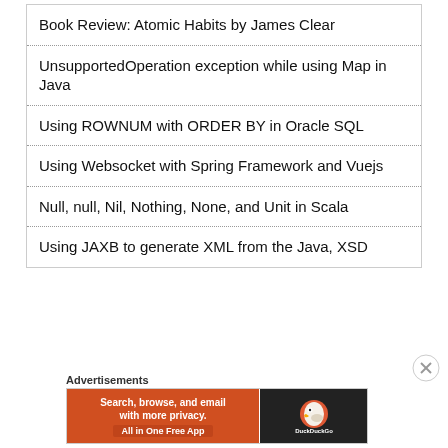Book Review: Atomic Habits by James Clear
UnsupportedOperation exception while using Map in Java
Using ROWNUM with ORDER BY in Oracle SQL
Using Websocket with Spring Framework and Vuejs
Null, null, Nil, Nothing, None, and Unit in Scala
Using JAXB to generate XML from the Java, XSD
Advertisements
[Figure (infographic): DuckDuckGo advertisement banner: orange left panel with text 'Search, browse, and email with more privacy. All in One Free App', black right panel with DuckDuckGo duck logo]